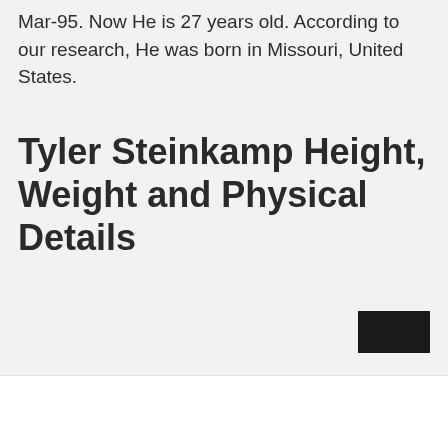Mar-95. Now He is 27 years old. According to our research, He was born in Missouri, United States.
Tyler Steinkamp Height, Weight and Physical Details